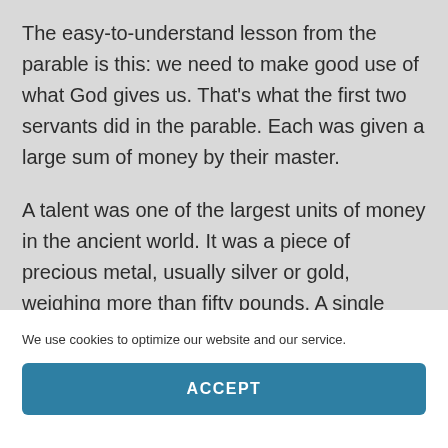The easy-to-understand lesson from the parable is this: we need to make good use of what God gives us. That's what the first two servants did in the parable. Each was given a large sum of money by their master.
A talent was one of the largest units of money in the ancient world. It was a piece of precious metal, usually silver or gold, weighing more than fifty pounds. A single talent was the amount of
We use cookies to optimize our website and our service.
ACCEPT